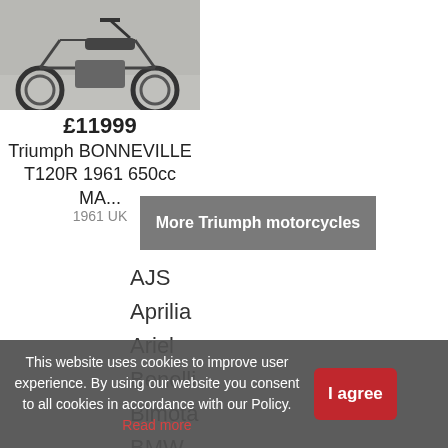[Figure (photo): Partial photo of a classic Triumph motorcycle, showing front wheel and handlebars on a grey floor background]
£11999
Triumph BONNEVILLE T120R 1961 650cc MA...
1961 UK
More Triumph motorcycles
AJS
Aprilia
Ariel
Benelli
Bimota
BMW
Boon
This website uses cookies to improve user experience. By using our website you consent to all cookies in accordance with our Policy. Read more
I agree